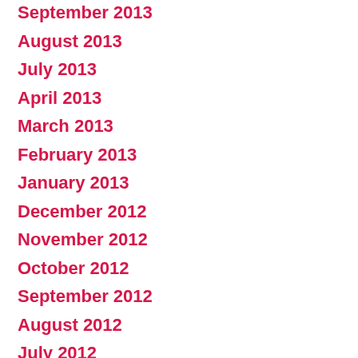September 2013
August 2013
July 2013
April 2013
March 2013
February 2013
January 2013
December 2012
November 2012
October 2012
September 2012
August 2012
July 2012
June 2012
May 2012
April 2012